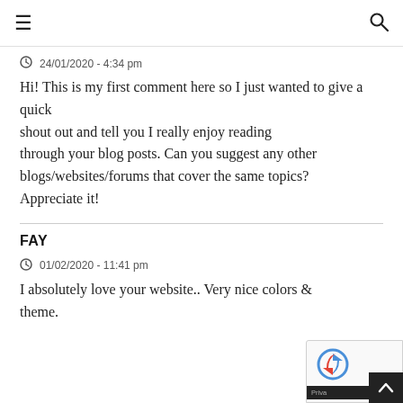≡ [hamburger menu] | [search icon]
24/01/2020 - 4:34 pm
Hi! This is my first comment here so I just wanted to give a quick shout out and tell you I really enjoy reading through your blog posts. Can you suggest any other blogs/websites/forums that cover the same topics? Appreciate it!
FAY
01/02/2020 - 11:41 pm
I absolutely love your website.. Very nice colors & theme.